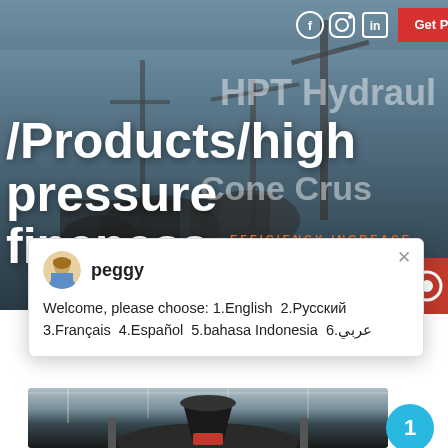[Figure (screenshot): Industrial machinery/crane site hero banner with dark overlay showing HPT Hydraulic Cone Crusher text and efficiency watermark]
/Products/high pressure fineness
Welcome, please choose: 1.English  2.Русский  3.Français  4.Español  5.bahasa Indonesia  6.عربي
[Figure (photo): Industrial cone crusher machine photographed inside a factory/warehouse building]